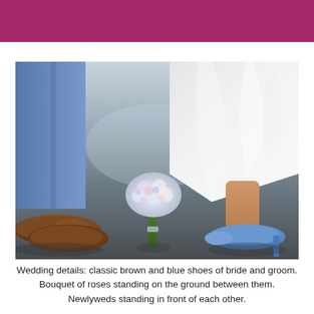[Figure (photo): Wedding photo showing lower half of bride and groom standing facing each other. Groom wearing blue pants and brown leather brogue shoes. Bride wearing white dress and blue high heel pumps. A bouquet of roses with blue and pink flowers sits on the ground between them on a grey pavement surface.]
Wedding details: classic brown and blue shoes of bride and groom. Bouquet of roses standing on the ground between them. Newlyweds standing in front of each other.